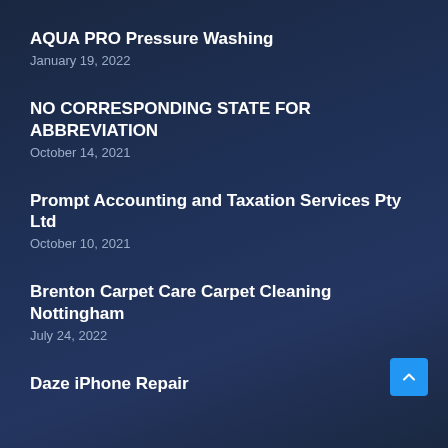AQUA PRO Pressure Washing
January 19, 2022
NO CORRESPONDING STATE FOR ABBREVIATION
October 14, 2021
Prompt Accounting and Taxation Services Pty Ltd
October 10, 2021
Brenton Carpet Care Carpet Cleaning Nottingham
July 24, 2022
Daze iPhone Repair